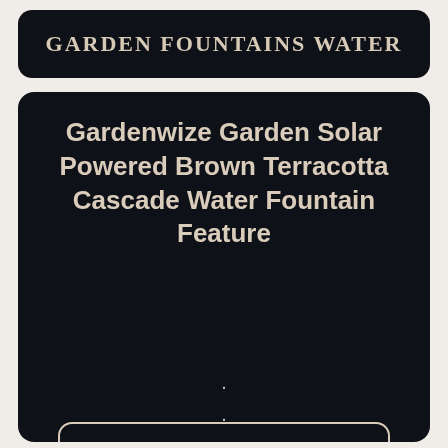Garden Fountains Water
Gardenwize Garden Solar Powered Brown Terracotta Cascade Water Fountain Feature
···
More Information
ebay